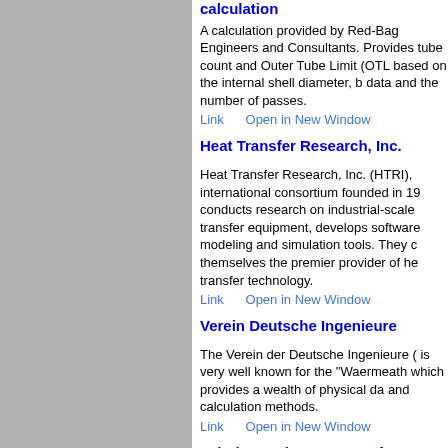calculation
A calculation provided by Red-Bag Engineers and Consultants. Provides tube count and Outer Tube Limit (OTL based on the internal shell diameter, b data and the number of passes.
Link    Open in New Window
Heat Transfer Research, Inc.
Heat Transfer Research, Inc. (HTRI), international consortium founded in 19 conducts research on industrial-scale transfer equipment, develops software modeling and simulation tools. They c themselves the premier provider of he transfer technology.
Link    Open in New Window
Verein Deutsche Ingenieure
The Verein der Deutsche Ingenieure ( is very well known for the "Waermeath which provides a wealth of physical da and calculation methods.
Link    Open in New Window
Tubular Exchanger Manufacture Association, inc.
The Tubular Exchanger Manufacturers Association, or TEMA, is a group of le manufacturers who have pioneered th